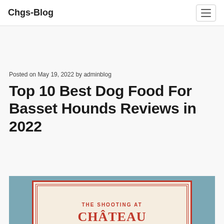Chgs-Blog
Posted on May 19, 2022 by adminblog
Top 10 Best Dog Food For Basset Hounds Reviews in 2022
[Figure (illustration): Book cover image on a teal/steel-blue background. The cover shows 'THE SHOOTING AT' in red uppercase text and 'CHÂTEAU' in large red bold serif letters, on a cream/beige background with decorative red border frame.]